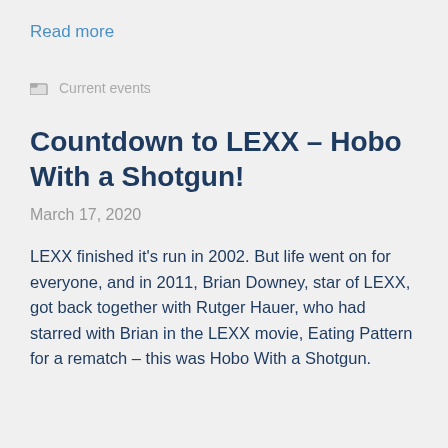Read more
📁 Current events
Countdown to LEXX – Hobo With a Shotgun!
March 17, 2020
LEXX finished it's run in 2002. But life went on for everyone, and in 2011, Brian Downey, star of LEXX, got back together with Rutger Hauer, who had starred with Brian in the LEXX movie, Eating Pattern for a rematch – this was Hobo With a Shotgun.